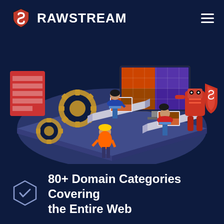RAWSTREAM
[Figure (illustration): Isometric illustration showing workers at computers with large monitors displaying data/dashboards, gear icons, a robot figure with a shield, on a dark navy background. Technology/data analytics themed scene.]
80+ Domain Categories Covering the Entire Web